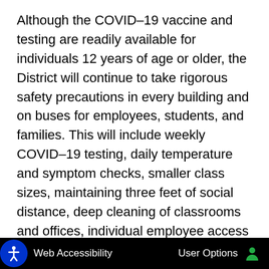Although the COVID–19 vaccine and testing are readily available for individuals 12 years of age or older, the District will continue to take rigorous safety precautions in every building and on buses for employees, students, and families. This will include weekly COVID–19 testing, daily temperature and symptom checks, smaller class sizes, maintaining three feet of social distance, deep cleaning of classrooms and offices, individual employee access to fans and air purifiers, and ample access to soap and hand sanitizers. DPSCD will continue to be a leading district and organization in the safety and health of students as we return to school in the Fall. Nothing is more important to us than your child's
Web Accessibility   User Options